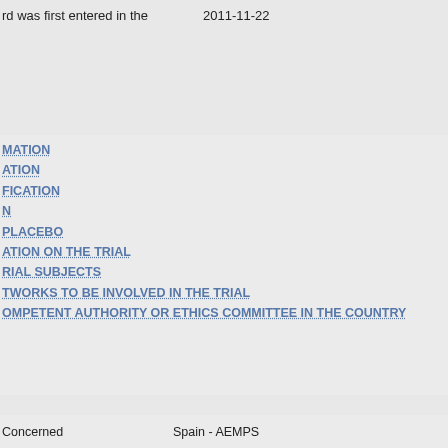rd was first entered in the   2011-11-22
MATION
ATION
FICATION
N
PLACEBO
ATION ON THE TRIAL
RIAL SUBJECTS
TWORKS TO BE INVOLVED IN THE TRIAL
OMPETENT AUTHORITY OR ETHICS COMMITTEE IN THE COUNTRY
|  |  |
| --- | --- |
| Concerned | Spain - AEMPS |
|  | 2011-035153-24 |